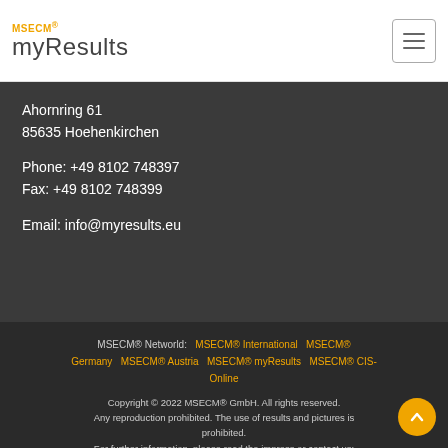MSECM® myResults
Ahornring 61
85635 Hoehenkirchen

Phone: +49 8102 748397
Fax: +49 8102 748399

Email: info@myresults.eu
MSECM® Networld: MSECM® International  MSECM® Germany  MSECM® Austria  MSECM® myResults  MSECM® CIS-Online

Copyright © 2022 MSECM® GmbH. All rights reserved. Any reproduction prohibited. The use of results and pictures is prohibited.
For further information, please read the impress or contact us: info@msecm.com.

Site created in 0.146 sec.